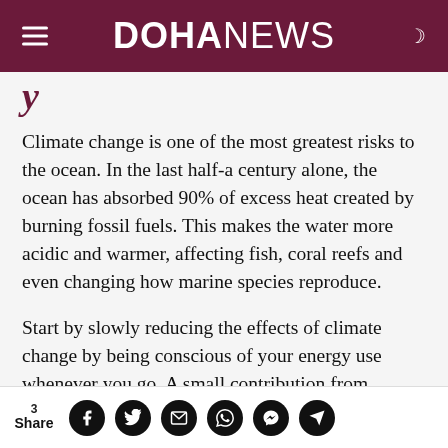DOHANEWS
y
Climate change is one of the most greatest risks to the ocean. In the last half-a century alone, the ocean has absorbed 90% of excess heat created by burning fossil fuels. This makes the water more acidic and warmer, affecting fish, coral reefs and even changing how marine species reproduce.
Start by slowly reducing the effects of climate change by being conscious of your energy use whenever you go. A small contribution from
3 Share [Facebook] [Twitter] [Email] [WhatsApp] [Messenger] [Telegram]